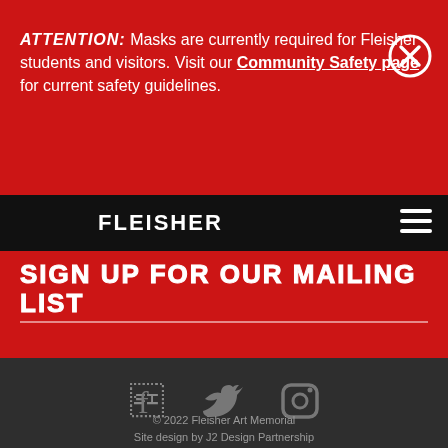ATTENTION: Masks are currently required for Fleisher students and visitors. Visit our Community Safety page for current safety guidelines.
[Figure (logo): Fleisher Art Memorial logo with flower emblem and wordmark on black navigation bar]
SIGN UP FOR OUR MAILING LIST
[Figure (infographic): Social media icons: Facebook, Twitter, Instagram in gray on dark background]
© 2022 Fleisher Art Memorial
Site design by J2 Design Partnership